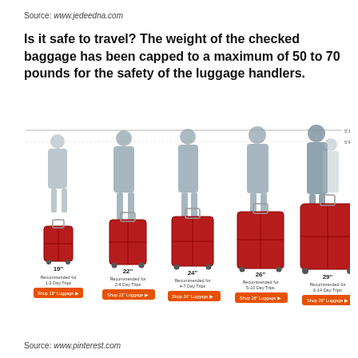Source: www.jedeedna.com
Is it safe to travel? The weight of the checked baggage has been capped to a maximum of 50 to 70 pounds for the safety of the luggage handlers.
[Figure (infographic): Five red suitcases of increasing size (19", 22", 24", 26", 29") shown next to silhouettes of people at heights 5'10" and 5'4". Each suitcase has a label for recommended trip duration and an orange shop button.]
Source: www.pinterest.com